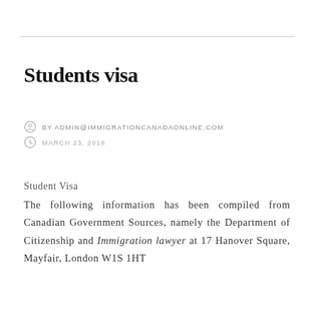Students visa
BY ADMIN@IMMIGRATIONCANADAONLINE.COM
MARCH 23, 2018
Student Visa
The following information has been compiled from Canadian Government Sources, namely the Department of Citizenship and Immigration lawyer at 17 Hanover Square, Mayfair, London W1S 1HT